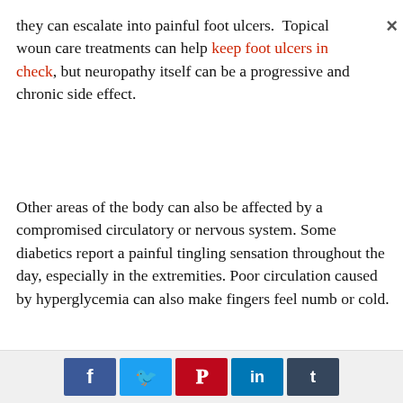they can escalate into painful foot ulcers. Topical wound care treatments can help keep foot ulcers in check, but neuropathy itself can be a progressive and chronic side effect.
Other areas of the body can also be affected by a compromised circulatory or nervous system. Some diabetics report a painful tingling sensation throughout the day, especially in the extremities. Poor circulation caused by hyperglycemia can also make fingers feel numb or cold.
[Figure (other): Social sharing buttons: Facebook, Twitter, Pinterest, LinkedIn, Tumblr]